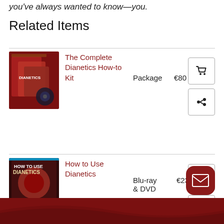you've always wanted to know—you.
Related Items
The Complete Dianetics How-to Kit · Package · €80
How to Use Dianetics · Blu-ray & DVD · €23